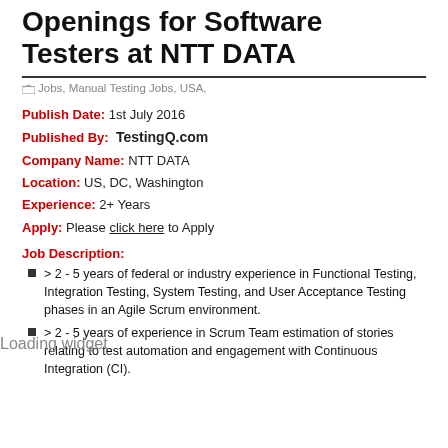Openings for Software Testers at NTT DATA
Jobs, Manual Testing Jobs, USA,
Publish Date: 1st July 2016
Published By: TestingQ.com
Company Name: NTT DATA
Location: US, DC, Washington
Experience: 2+ Years
Apply: Please click here to Apply
Job Description:
> 2 - 5 years of federal or industry experience in Functional Testing, Integration Testing, System Testing, and User Acceptance Testing phases in an Agile Scrum environment.
> 2 - 5 years of experience in Scrum Team estimation of stories relating to test automation and engagement with Continuous Integration (CI).